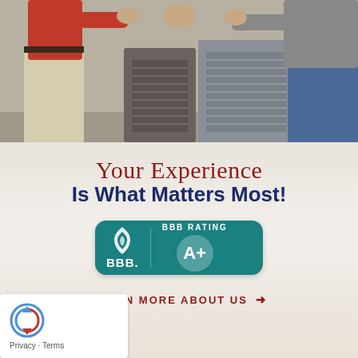[Figure (photo): Two people (one in red shirt, one in gray shirt and jeans) shaking hands in front of HVAC/air conditioning units outdoors]
Your Experience Is What Matters Most!
[Figure (logo): Better Business Bureau (BBB) badge showing BBB Rating A+]
LEARN MORE ABOUT US →
[Figure (other): reCAPTCHA widget box with Privacy and Terms links]